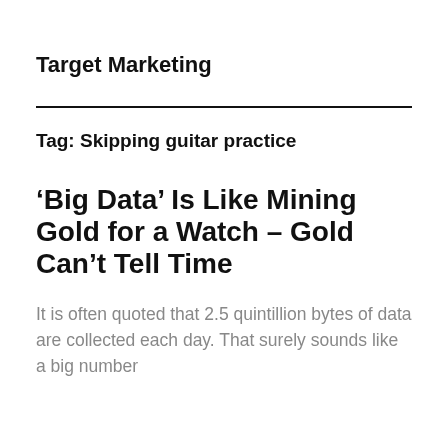Target Marketing
Tag: Skipping guitar practice
‘Big Data’ Is Like Mining Gold for a Watch – Gold Can’t Tell Time
It is often quoted that 2.5 quintillion bytes of data are collected each day. That surely sounds like a big number